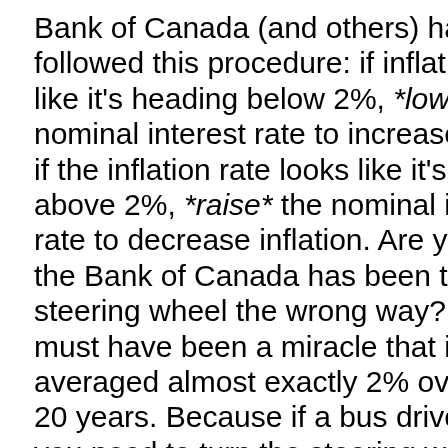Bank of Canada (and others) has followed this procedure: if inflation looks like it's heading below 2%, *lower* the nominal interest rate to increase inflation; if the inflation rate looks like it's heading above 2%, *raise* the nominal interest rate to decrease inflation. Are you saying the Bank of Canada has been turning the steering wheel the wrong way? If so, it must have been a miracle that inflation averaged almost exactly 2% over the last 20 years. Because if a bus driver thinks you need to turn the steering wheel clockwise to make the